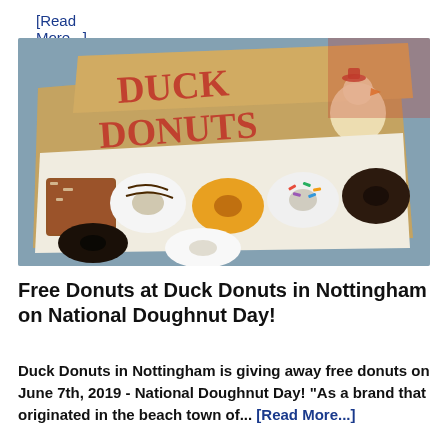[Read More...]
[Figure (photo): A box of Duck Donuts with assorted donuts inside. The box reads 'DUCK DONUTS - WARM, DELICIOUS & MADE TO ORDER!' with a duck mascot on the right side.]
Free Donuts at Duck Donuts in Nottingham on National Doughnut Day!
Duck Donuts in Nottingham is giving away free donuts on June 7th, 2019 - National Doughnut Day! "As a brand that originated in the beach town of... [Read More...]